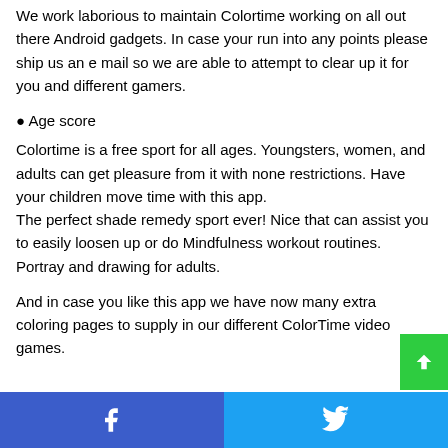We work laborious to maintain Colortime working on all out there Android gadgets. In case your run into any points please ship us an e mail so we are able to attempt to clear up it for you and different gamers.
● Age score
Colortime is a free sport for all ages. Youngsters, women, and adults can get pleasure from it with none restrictions. Have your children move time with this app.
The perfect shade remedy sport ever! Nice that can assist you to easily loosen up or do Mindfulness workout routines. Portray and drawing for adults.
And in case you like this app we have now many extra coloring pages to supply in our different ColorTime video games.
Facebook  Twitter